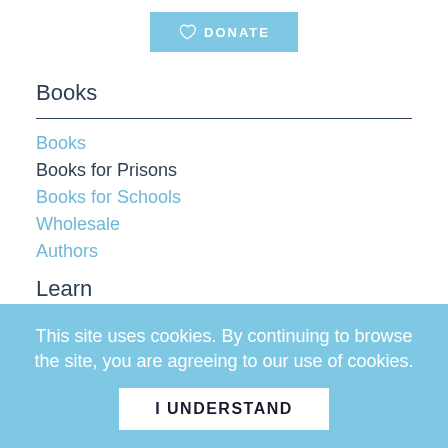[Figure (other): Donate button with heart icon, light blue background, white text reading DONATE]
Books
Books
Books for Prisons
Books for Schools
Wholesale
Authors
Learn
This site uses cookies. By continuing to browse the site, you are agreeing to our use of cookies.
I UNDERSTAND